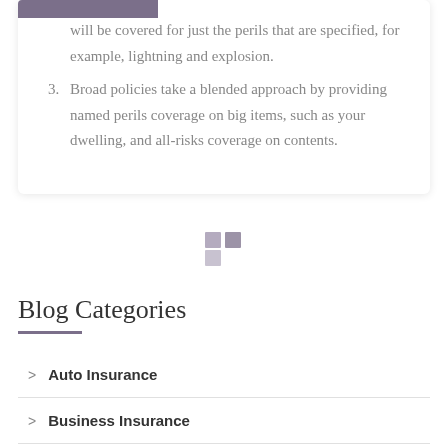will be covered for just the perils that are specified, for example, lightning and explosion.
3. Broad policies take a blended approach by providing named perils coverage on big items, such as your dwelling, and all-risks coverage on contents.
[Figure (logo): Three small squares arranged in an L-shape pattern, colored in muted purple/grey tones, forming a decorative icon.]
Blog Categories
> Auto Insurance
> Business Insurance